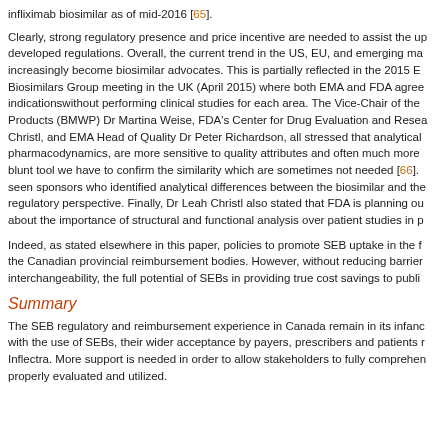infliximab biosimilar as of mid-2016 [65].
Clearly, strong regulatory presence and price incentive are needed to assist the up developed regulations. Overall, the current trend in the US, EU, and emerging ma increasingly become biosimilar advocates. This is partially reflected in the 2015 E Biosimilars Group meeting in the UK (April 2015) where both EMA and FDA agree indicationswithout performing clinical studies for each area. The Vice-Chair of the Products (BMWP) Dr Martina Weise, FDA's Center for Drug Evaluation and Resea Christl, and EMA Head of Quality Dr Peter Richardson, all stressed that analytical pharmacodynamics, are more sensitive to quality attributes and often much more blunt tool we have to confirm the similarity which are sometimes not needed [66]. seen sponsors who identified analytical differences between the biosimilar and the regulatory perspective. Finally, Dr Leah Christl also stated that FDA is planning ou about the importance of structural and functional analysis over patient studies in p
Indeed, as stated elsewhere in this paper, policies to promote SEB uptake in the f the Canadian provincial reimbursement bodies. However, without reducing barrier interchangeability, the full potential of SEBs in providing true cost savings to publi
Summary
The SEB regulatory and reimbursement experience in Canada remain in its infanc with the use of SEBs, their wider acceptance by payers, prescribers and patients r Inflectra. More support is needed in order to allow stakeholders to fully comprehen properly evaluated and utilized.